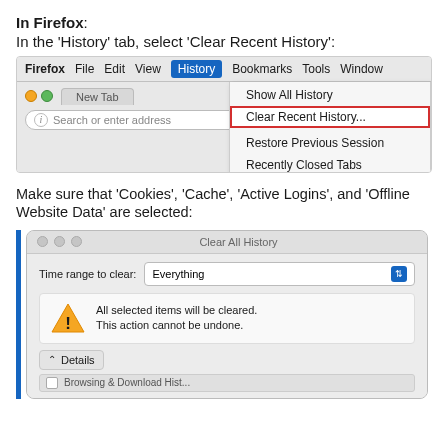In Firefox: In the 'History' tab, select 'Clear Recent History':
[Figure (screenshot): Firefox browser menu screenshot showing the History menu open with 'Clear Recent History...' highlighted with a red border. Menu shows: Show All History, Clear Recent History..., Restore Previous Session, Recently Closed Tabs, Recently Closed Windows (greyed out).]
Make sure that 'Cookies', 'Cache', 'Active Logins', and 'Offline Website Data' are selected:
[Figure (screenshot): Firefox 'Clear All History' dialog screenshot showing: Time range to clear: Everything (dropdown), warning box with triangle icon saying 'All selected items will be cleared. This action cannot be undone.', and a Details section at the bottom.]